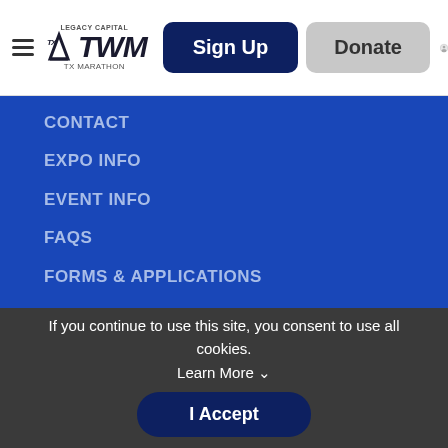LEGACY CAPITAL TWM - Sign Up | Donate
CONTACT
EXPO INFO
EVENT INFO
FAQs
FORMS & APPLICATIONS
HEALTH AND SAFETY GUIDELINES
HISTORY
MAPS
PACKET PICKUP
PHOTOS
PRESS RELEASE
RACE GUIDE
REGISTRATION FEES
If you continue to use this site, you consent to use all cookies. Learn More
I Accept